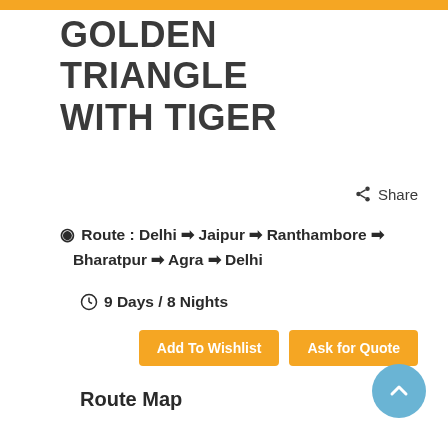GOLDEN TRIANGLE WITH TIGER
Share
Route : Delhi → Jaipur → Ranthambore → Bharatpur → Agra → Delhi
9 Days / 8 Nights
Add To Wishlist
Ask for Quote
Route Map